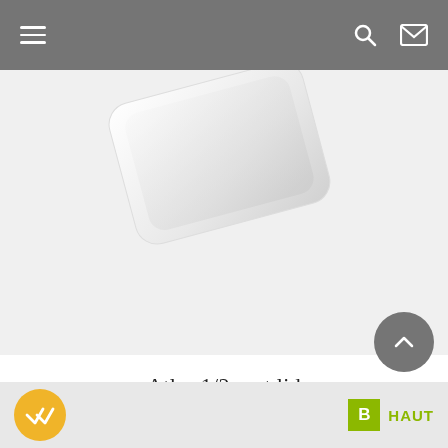Navigation bar with menu, search, and mail icons
[Figure (photo): White rounded rectangular product lid (Atlas 1/2 rpet lid) photographed on a light grey background, partially cropped at top]
Atlas 1/2 rpet lid
CT12
VIEW DETAIL
Chat badge icon and HAUT label with B badge